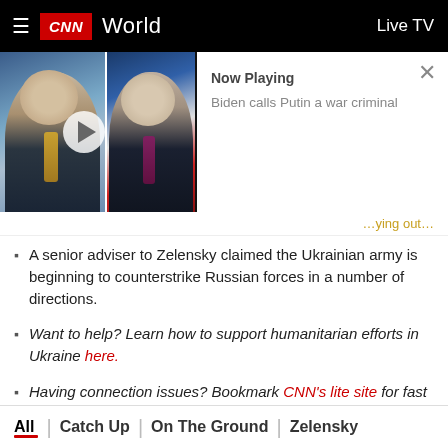≡  CNN  World  Live TV
[Figure (screenshot): CNN video player showing Biden and Putin side by side with play button, and Now Playing panel showing 'Biden calls Putin a war criminal']
Now Playing
Biden calls Putin a war criminal
A senior adviser to Zelensky claimed the Ukrainian army is beginning to counterstrike Russian forces in a number of directions.
Want to help? Learn how to support humanitarian efforts in Ukraine here.
Having connection issues? Bookmark CNN's lite site for fast connectivity.
All | Catch Up | On The Ground | Zelensky